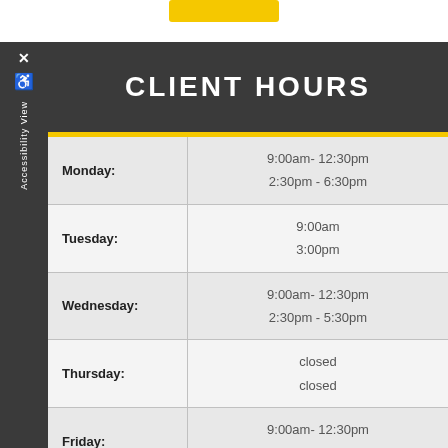CLIENT HOURS
| Day | Hours |
| --- | --- |
| Monday: | 9:00am- 12:30pm
2:30pm - 6:30pm |
| Tuesday: | 9:00am
3:00pm |
| Wednesday: | 9:00am- 12:30pm
2:30pm - 5:30pm |
| Thursday: | closed
closed |
| Friday: | 9:00am- 12:30pm
2:30pm - 5:30pm |